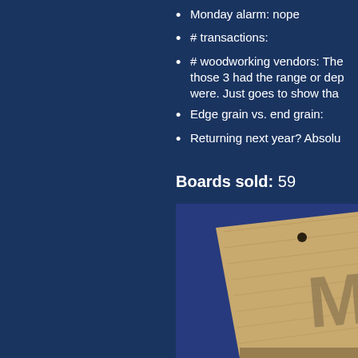Monday alarm: nope
# transactions:
# woodworking vendors: The those 3 had the range or dep were. Just goes to show tha
Edge grain vs. end grain:
Returning next year? Absolu
Boards sold: 59
[Figure (photo): A wooden board with a letter M branded/engraved on it, resting on a blue fabric surface. The board has two holes near the top.]